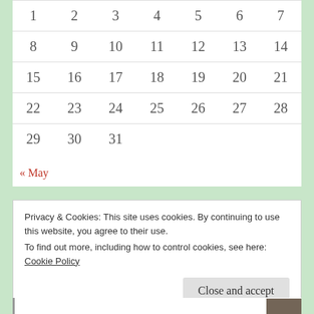| 1 | 2 | 3 | 4 | 5 | 6 | 7 |
| 8 | 9 | 10 | 11 | 12 | 13 | 14 |
| 15 | 16 | 17 | 18 | 19 | 20 | 21 |
| 22 | 23 | 24 | 25 | 26 | 27 | 28 |
| 29 | 30 | 31 |  |  |  |  |
« May
Privacy & Cookies: This site uses cookies. By continuing to use this website, you agree to their use.
To find out more, including how to control cookies, see here: Cookie Policy
Close and accept